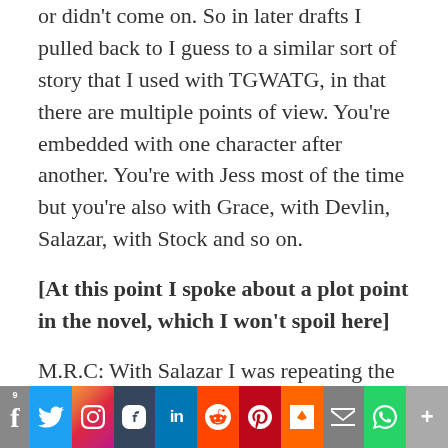or didn't come on. So in later drafts I pulled back to I guess to a similar sort of story that I used with TGWATG, in that there are multiple points of view. You're embedded with one character after another. You're with Jess most of the time but you're also with Grace, with Devlin, Salazar, with Stock and so on.
[At this point I spoke about a plot point in the novel, which I won't spoil here]
M.R.C: With Salazar I was repeating the main theme in a minor key. He's like
9  f  t  in  reddit  P  m  mail  WhatsApp  More